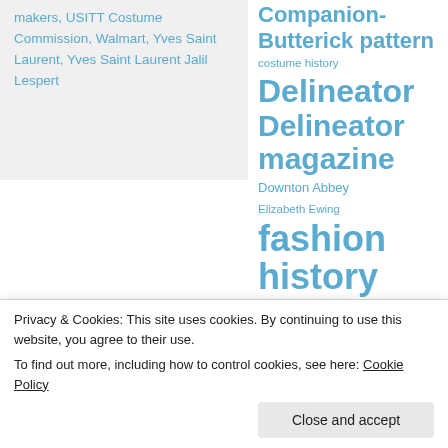makers, USITT Costume Commission, Walmart, Yves Saint Laurent, Yves Saint Laurent Jalil Lespert
Companion-Butterick pattern costume history Delineator Delineator magazine Downton Abbey Elizabeth Ewing fashion history fashion illustration 1920s Great Depression Jeanne Lanvin JoAnne Olian Joy Spanabel Emery Ladies' Home Fashions
Privacy & Cookies: This site uses cookies. By continuing to use this website, you agree to their use. To find out more, including how to control cookies, see here: Cookie Policy